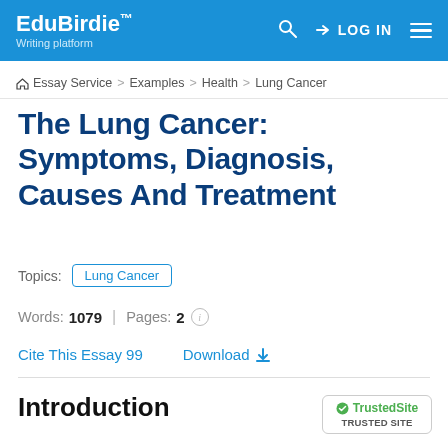EduBirdie™ Writing platform | LOG IN
Essay Service > Examples > Health > Lung Cancer
The Lung Cancer: Symptoms, Diagnosis, Causes And Treatment
Topics: Lung Cancer
Words: 1079 | Pages: 2
Cite This Essay 99   Download
Introduction